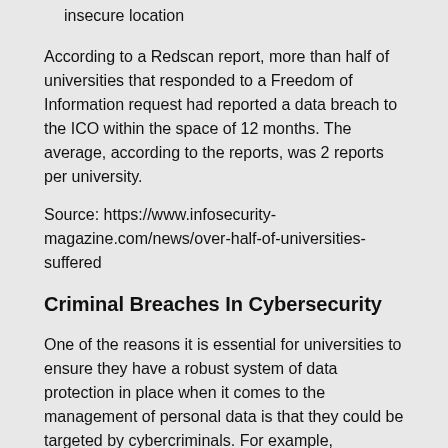insecure location
According to a Redscan report, more than half of universities that responded to a Freedom of Information request had reported a data breach to the ICO within the space of 12 months. The average, according to the reports, was 2 reports per university.
Source: https://www.infosecurity-magazine.com/news/over-half-of-universities-suffered
Criminal Breaches In Cybersecurity
One of the reasons it is essential for universities to ensure they have a robust system of data protection in place when it comes to the management of personal data is that they could be targeted by cybercriminals. For example, according to the National Cyber Security Centre, some educational establishments conducting coronavirus research were the target of Russian Intelligence cyber attacks.
Other criminal acts that could breach the personal data of university staff, alumni and students include: